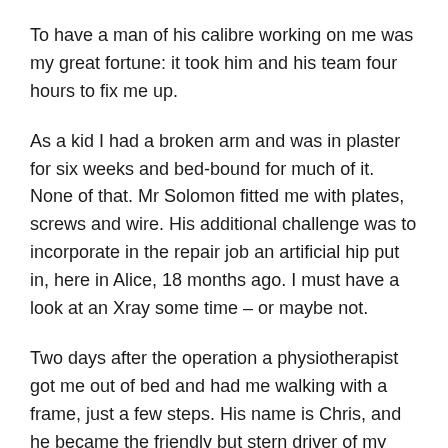To have a man of his calibre working on me was my great fortune: it took him and his team four hours to fix me up.
As a kid I had a broken arm and was in plaster for six weeks and bed-bound for much of it. None of that. Mr Solomon fitted me with plates, screws and wire. His additional challenge was to incorporate in the repair job an artificial hip put in, here in Alice, 18 months ago. I must have a look at an Xray some time – or maybe not.
Two days after the operation a physiotherapist got me out of bed and had me walking with a frame, just a few steps. His name is Chris, and he became the friendly but stern driver of my return to mobility. When he found out I was from Alice, he asked me whether I knew Dave Tuzewski –  the former Alice Springs identity now living in Adelaide is an old mate of mine. Small world.